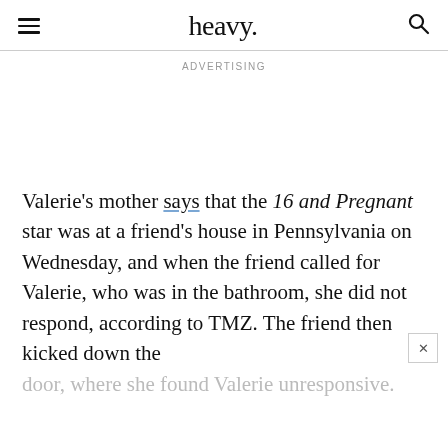heavy.
ADVERTISING
Valerie's mother says that the 16 and Pregnant star was at a friend's house in Pennsylvania on Wednesday, and when the friend called for Valerie, who was in the bathroom, she did not respond, according to TMZ. The friend then kicked down the door, where she found Valerie unresponsive.